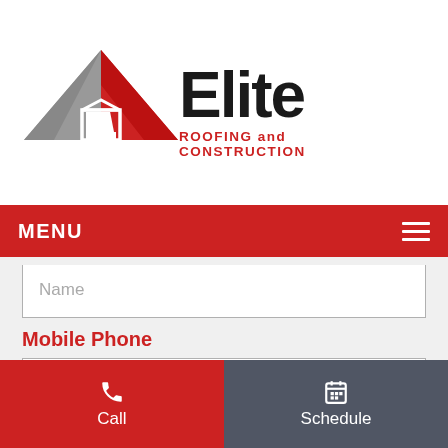[Figure (logo): Elite Roofing and Construction logo with red roof/house graphic and bold black 'Elite' text with red 'ROOFING and CONSTRUCTION' subtitle]
MENU
Name
Mobile Phone
Mobile Phone
Email
Call  Schedule